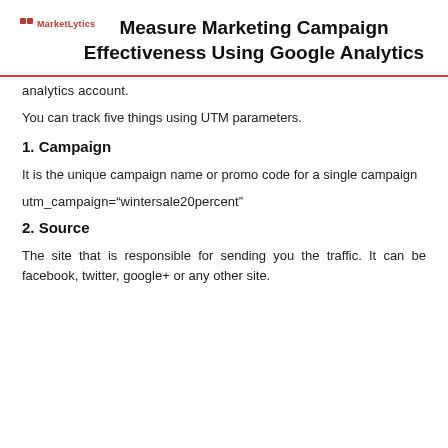MarketLytics
Measure Marketing Campaign Effectiveness Using Google Analytics
analytics account.
You can track five things using UTM parameters.
1. Campaign
It is the unique campaign name or promo code for a single campaign
utm_campaign="wintersale20percent"
2. Source
The site that is responsible for sending you the traffic. It can be facebook, twitter, google+ or any other site.